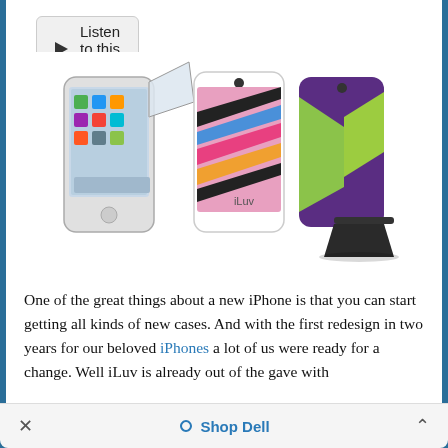Listen to this article
[Figure (photo): Three iPhone cases from iLuv brand: a white iPhone with screen protector being applied on the left, a colorful patterned case with bold zigzag stripes in white/black/pink/blue/orange in the center, and a green/purple geometric case with a kickstand on the right.]
One of the great things about a new iPhone is that you can start getting all kinds of new cases. And with the first redesign in two years for our beloved iPhones a lot of us were ready for a change. Well iLuv is already out of the gave with
× Shop Dell ^